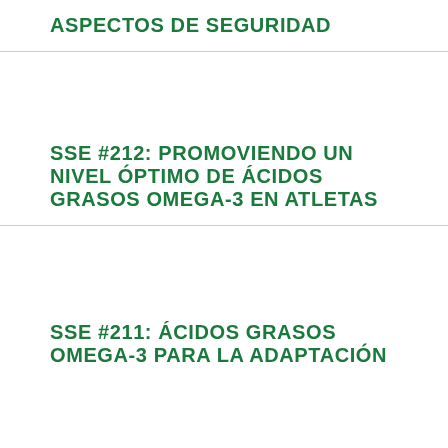ASPECTOS DE SEGURIDAD
SSE #212: PROMOVIENDO UN NIVEL ÓPTIMO DE ÁCIDOS GRASOS OMEGA-3 EN ATLETAS
SSE #211: ÁCIDOS GRASOS OMEGA-3 PARA LA ADAPTACIÓN